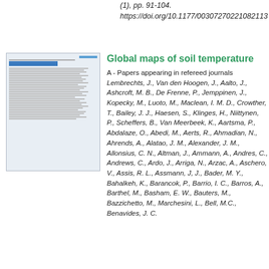(1), pp. 91-104. https://doi.org/10.1177/00307270221082113
[Figure (other): Thumbnail preview of the article 'Global maps of soil temperature']
Global maps of soil temperature
A - Papers appearing in refereed journals
Lembrechts, J., Van den Hoogen, J., Aalto, J., Ashcroft, M. B., De Frenne, P., Jemppinen, J., Kopecky, M., Luoto, M., Maclean, I. M. D., Crowther, T., Bailey, J. J., Haesen, S., Klinges, H., Niittynen, P., Scheffers, B., Van Meerbeek, K., Aartsma, P., Abdalaze, O., Abedi, M., Aerts, R., Ahmadian, N., Ahrends, A., Alatao, J. M., Alexander, J. M., Allonsius, C. N., Altman, J., Ammann, A., Andres, C., Andrews, C., Ardo, J., Arriga, N., Arzac, A., Aschero, V., Assis, R. L., Assmann, J, J., Bader, M. Y., Bahalkeh, K., Barancok, P., Barrio, I. C., Barros, A., Barthel, M., Basham, E. W., Bauters, M., Bazzichetto, M., Marchesini, L., Bell, M.C., Benavides, J. C.